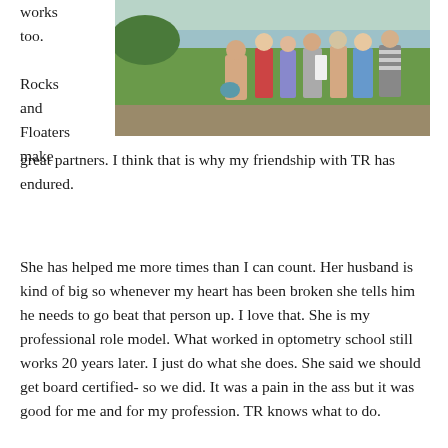works too.

Rocks and Floaters make
[Figure (photo): Group photo of several people standing outdoors near water on a grassy area. One person is crouching in front holding something. The group includes men and women dressed casually in summer clothing.]
great partners. I think that is why my friendship with TR has endured.
She has helped me more times than I can count. Her husband is kind of big so whenever my heart has been broken she tells him he needs to go beat that person up. I love that. She is my professional role model. What worked in optometry school still works 20 years later. I just do what she does. She said we should get board certified- so we did. It was a pain in the ass but it was good for me and for my profession. TR knows what to do.